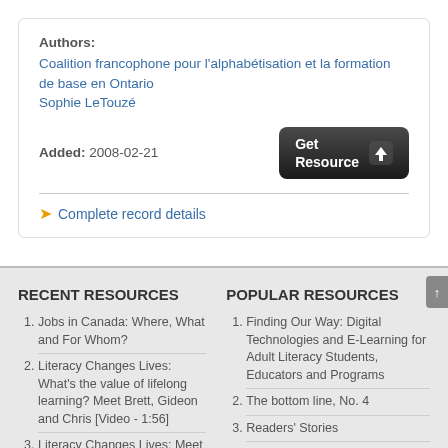Authors:
Coalition francophone pour l'alphabétisation et la formation de base en Ontario
Sophie LeTouzé
Added: 2008-02-21
Get Resource
Complete record details
RECENT RESOURCES
Jobs in Canada: Where, What and For Whom?
Literacy Changes Lives: What's the value of lifelong learning? Meet Brett, Gideon and Chris [Video - 1:56]
Literacy Changes Lives: Meet Michael Moore
POPULAR RESOURCES
Finding Our Way: Digital Technologies and E-Learning for Adult Literacy Students, Educators and Programs
The bottom line, No. 4
Readers' Stories
A Literacy Practitioner's